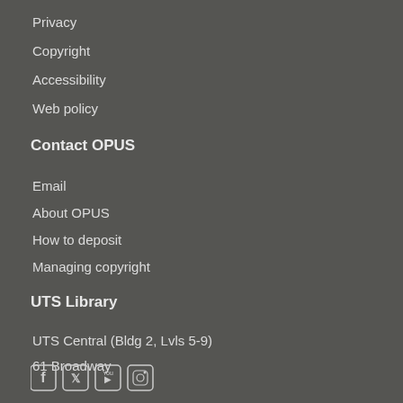Privacy
Copyright
Accessibility
Web policy
Contact OPUS
Email
About OPUS
How to deposit
Managing copyright
UTS Library
UTS Central (Bldg 2, Lvls 5-9)
61 Broadway
Ultimo NSW 2007
Ph: +61 2 9514 3666
[Figure (other): Social media icons: Facebook, Twitter, YouTube, Instagram]